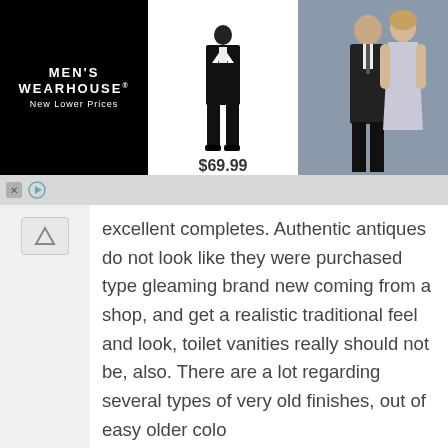[Figure (photo): Men's Wearhouse advertisement banner showing a suit for $69.99 and a couple in formal wear]
excellent completes. Authentic antiques do not look like they were purchased type gleaming brand new coming from a shop, and get a realistic traditional feel and look, toilet vanities really should not be, also. There are a lot regarding several types of very old finishes, out of easy older colo
Reply
Dames Asics Gel noosa TRI 9